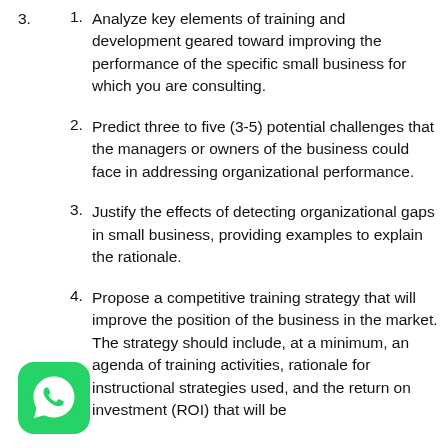1. Analyze key elements of training and development geared toward improving the performance of the specific small business for which you are consulting.
2. Predict three to five (3-5) potential challenges that the managers or owners of the business could face in addressing organizational performance.
3. Justify the effects of detecting organizational gaps in small business, providing examples to explain the rationale.
4. Propose a competitive training strategy that will improve the position of the business in the market. The strategy should include, at a minimum, an agenda of training activities, rationale for instructional strategies used, and the return on investment (ROI) that will be
[Figure (logo): WhatsApp logo — green rounded square with white phone/chat icon]